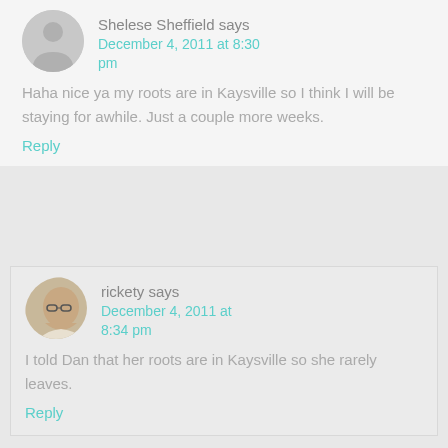Shelese Sheffield says
December 4, 2011 at 8:30 pm

Haha nice ya my roots are in Kaysville so I think I will be staying for awhile. Just a couple more weeks.

Reply
rickety says
December 4, 2011 at 8:34 pm

I told Dan that her roots are in Kaysville so she rarely leaves.

Reply